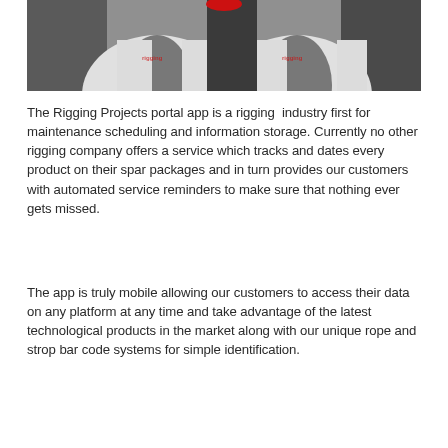[Figure (photo): Two people in white and grey branded long-sleeve shirts, photographed from the torso up, with a red button/badge visible at the top center of the image.]
The Rigging Projects portal app is a rigging industry first for maintenance scheduling and information storage. Currently no other rigging company offers a service which tracks and dates every product on their spar packages and in turn provides our customers with automated service reminders to make sure that nothing ever gets missed.
The app is truly mobile allowing our customers to access their data on any platform at any time and take advantage of the latest technological products in the market along with our unique rope and strop bar code systems for simple identification.